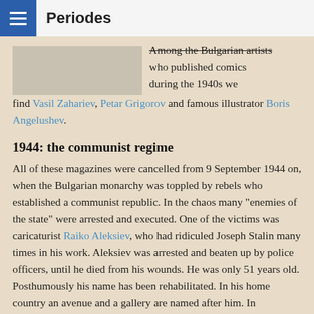Periodes
Among the Bulgarian artists who published comics during the 1940s we find Vasil Zahariev, Petar Grigorov and famous illustrator Boris Angelushev.
1944: the communist regime
All of these magazines were cancelled from 9 September 1944 on, when the Bulgarian monarchy was toppled by rebels who established a communist republic. In the chaos many "enemies of the state" were arrested and executed. One of the victims was caricaturist Raiko Aleksiev, who had ridiculed Joseph Stalin many times in his work. Aleksiev was arrested and beaten up by police officers, until he died from his wounds. He was only 51 years old. Posthumously his name has been rehabilitated. In his home country an avenue and a gallery are named after him. In Antarctica there is even a glacier which bears his name.